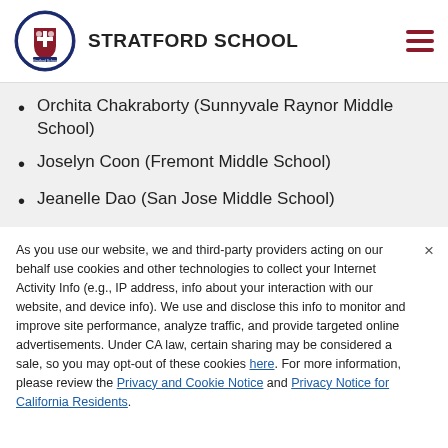STRATFORD SCHOOL
Orchita Chakraborty (Sunnyvale Raynor Middle School)
Joselyn Coon (Fremont Middle School)
Jeanelle Dao (San Jose Middle School)
As you use our website, we and third-party providers acting on our behalf use cookies and other technologies to collect your Internet Activity Info (e.g., IP address, info about your interaction with our website, and device info). We use and disclose this info to monitor and improve site performance, analyze traffic, and provide targeted online advertisements. Under CA law, certain sharing may be considered a sale, so you may opt-out of these cookies here. For more information, please review the Privacy and Cookie Notice and Privacy Notice for California Residents.